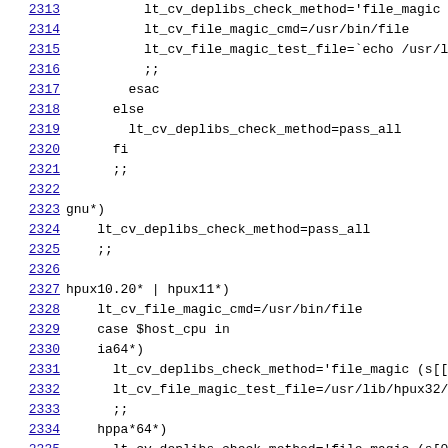Source code viewer lines 2313-2335, shell script configure code
2313: lt_cv_deplibs_check_method='file_magic (Free
2314: lt_cv_file_magic_cmd=/usr/bin/file
2315: lt_cv_file_magic_test_file=`echo /usr/lib/li
2316: ;;
2317: esac
2318: else
2319: lt_cv_deplibs_check_method=pass_all
2320: fi
2321: ;;
2322: (blank)
2323: gnu*)
2324: lt_cv_deplibs_check_method=pass_all
2325: ;;
2326: (blank)
2327: hpux10.20* | hpux11*)
2328: lt_cv_file_magic_cmd=/usr/bin/file
2329: case $host_cpu in
2330: ia64*)
2331: lt_cv_deplibs_check_method='file_magic (s[[0-9
2332: lt_cv_file_magic_test_file=/usr/lib/hpux32/lib
2333: ;;
2334: hppa*64*)
2335: lt_cv_deplibs_check_method='file_magic (s[0-9